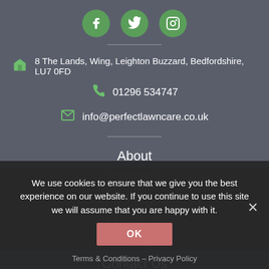[Figure (illustration): Three green circular social media icons for Facebook, Twitter, and Instagram]
8 The Lands, Wing, Leighton Buzzard, Bedfordshire, LU7 0FD
01296 534747
info@perfectlawncare.co.uk
About
Services
Pricing & Programmes
Our Work
News
Contact Us
We use cookies to ensure that we give you the best experience on our website. If you continue to use this site we will assume that you are happy with it.
OK
Terms & Conditions – Privacy Policy